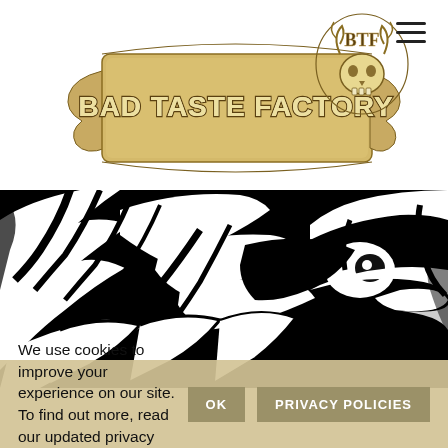[Figure (logo): Bad Taste Factory logo — decorative banner scroll with the text 'BAD TASTE FACTORY' and 'BTF' skull emblem to the right]
[Figure (illustration): High-contrast black and white illustration of a large bird (eagle or condor) with dramatic feathers and a piercing eye, cropped close]
We use cookies to improve your experience on our site. To find out more, read our updated privacy policies.
Ok
Privacy Policies